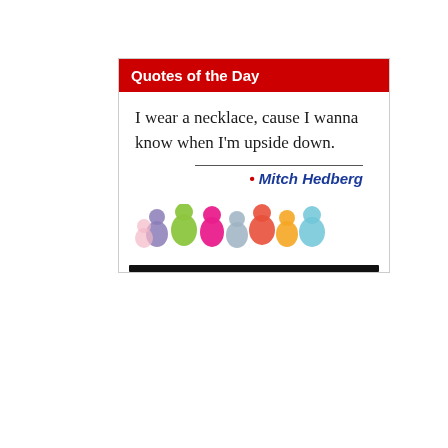Quotes of the Day
I wear a necklace, cause I wanna know when I'm upside down.
• Mitch Hedberg
[Figure (illustration): Colorful silhouettes of people in various colors (purple, green, pink, gray, orange, red, light blue, teal) standing in a row at the bottom of the card, with a black bar beneath them.]